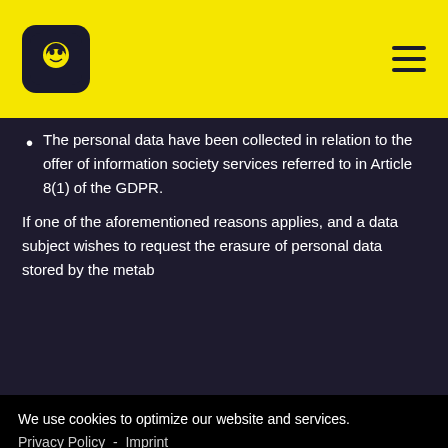[Figure (logo): Black rounded square logo with a face/mask icon]
The personal data have been collected in relation to the offer of information society services referred to in Article 8(1) of the GDPR.
If one of the aforementioned reasons applies, and a data subject wishes to request the erasure of personal data stored by the metab
We use cookies to optimize our website and services.
Privacy Policy - Imprint
Decline    Accept
Where the controller has made personal data